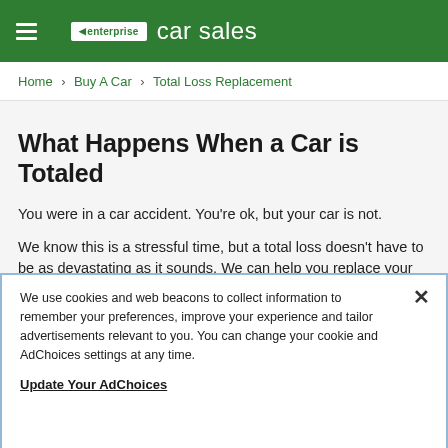enterprise car sales
Home > Buy A Car > Total Loss Replacement
What Happens When a Car is Totaled
You were in a car accident. You're ok, but your car is not.
We know this is a stressful time, but a total loss doesn't have to be as devastating as it sounds. We can help you replace your car quickly and easily and answer all your questions.
We use cookies and web beacons to collect information to remember your preferences, improve your experience and tailor advertisements relevant to you. You can change your cookie and AdChoices settings at any time.
Update Your AdChoices